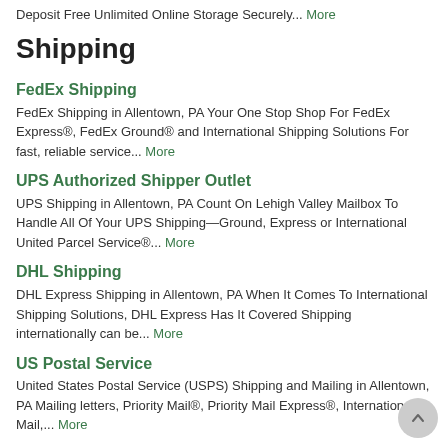Deposit Free Unlimited Online Storage Securely... More
Shipping
FedEx Shipping
FedEx Shipping in Allentown, PA Your One Stop Shop For FedEx Express®, FedEx Ground® and International Shipping Solutions For fast, reliable service... More
UPS Authorized Shipper Outlet
UPS Shipping in Allentown, PA Count On Lehigh Valley Mailbox To Handle All Of Your UPS Shipping—Ground, Express or International United Parcel Service®... More
DHL Shipping
DHL Express Shipping in Allentown, PA When It Comes To International Shipping Solutions, DHL Express Has It Covered Shipping internationally can be... More
US Postal Service
United States Postal Service (USPS) Shipping and Mailing in Allentown, PA Mailing letters, Priority Mail®, Priority Mail Express®, International Mail,... More
International Shipping
International Shipping in Allentown, PA Fast & Reliable